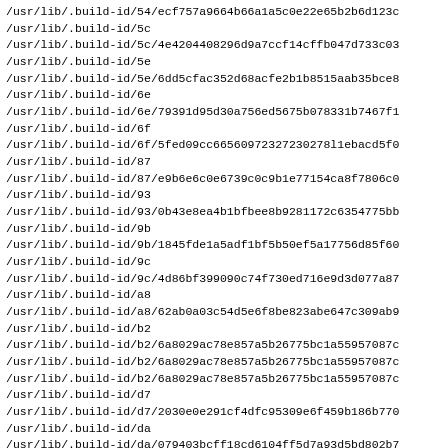/usr/lib/.build-id/54/ecf757a9664b66a1a5c0e22e65b2b6d123c
/usr/lib/.build-id/5c
/usr/lib/.build-id/5c/4e4204408296d9a7ccf14cffb047d733c03
/usr/lib/.build-id/5e
/usr/lib/.build-id/5e/6dd5cfac352d68acfe2b1b8515aab35bce8
/usr/lib/.build-id/6e
/usr/lib/.build-id/6e/79391d95d30a756ed5675b078331b7467f1
/usr/lib/.build-id/6f
/usr/lib/.build-id/6f/5fed09cc665609723272302781 1ebacd5f0
/usr/lib/.build-id/87
/usr/lib/.build-id/87/e9b6e6c0e6739c0c9b1e77154ca8f7806c0
/usr/lib/.build-id/93
/usr/lib/.build-id/93/0b43e8ea4b1bfbee8b9281172c6354775bb
/usr/lib/.build-id/9b
/usr/lib/.build-id/9b/1845fde1a5adf1bf5b50ef5a17756d85f60
/usr/lib/.build-id/9c
/usr/lib/.build-id/9c/4d86bf399090c74f730ed716e9d3d077a87
/usr/lib/.build-id/a8
/usr/lib/.build-id/a8/62ab0a03c54d5e6f8be823abe647c309ab9
/usr/lib/.build-id/b2
/usr/lib/.build-id/b2/6a8029ac78e857a5b26775bc1a55957087c
/usr/lib/.build-id/b2/6a8029ac78e857a5b26775bc1a55957087c
/usr/lib/.build-id/b2/6a8029ac78e857a5b26775bc1a55957087c
/usr/lib/.build-id/d7
/usr/lib/.build-id/d7/2030e0e291cf4dfc95309e6f459b186b770
/usr/lib/.build-id/da
/usr/lib/.build-id/da/079403bcff18cd6104ff5d7a93d5bd802b7
/usr/lib/.build-id/da/b60a52f4a8b054f0ca723ad284a63b13d48
/usr/lib/.build-id/dc
/usr/lib/.build-id/dc/4619127c576dfa61b50931c1972caeb055e